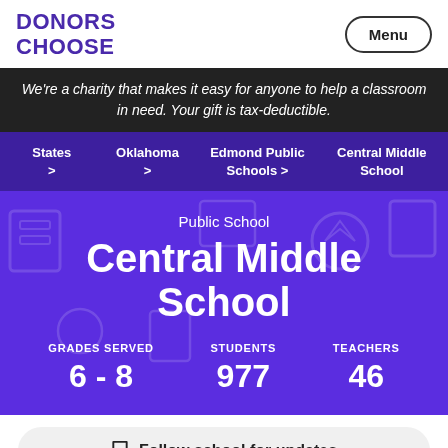DONORS CHOOSE
We're a charity that makes it easy for anyone to help a classroom in need. Your gift is tax-deductible.
States > Oklahoma > Edmond Public Schools > Central Middle School
Central Middle School
Public School
GRADES SERVED 6 - 8   STUDENTS 977   TEACHERS 46
Follow school for updates